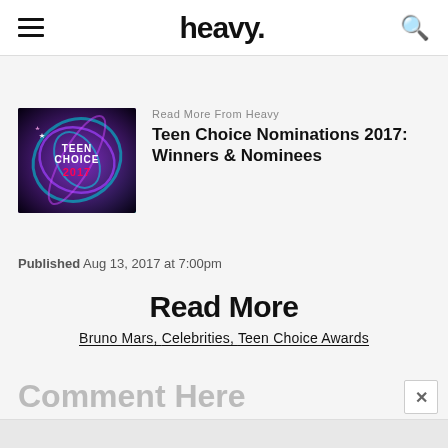heavy.
[Figure (illustration): Teen Choice 2017 award show logo with colorful swirling light effects on dark background]
Read More From Heavy
Teen Choice Nominations 2017: Winners & Nominees
Published Aug 13, 2017 at 7:00pm
Read More
Bruno Mars, Celebrities, Teen Choice Awards
Comment Here